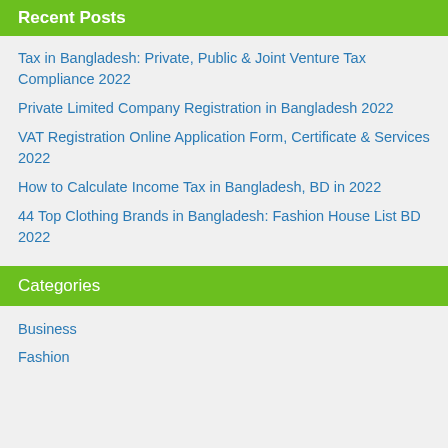Recent Posts
Tax in Bangladesh: Private, Public & Joint Venture Tax Compliance 2022
Private Limited Company Registration in Bangladesh 2022
VAT Registration Online Application Form, Certificate & Services 2022
How to Calculate Income Tax in Bangladesh, BD in 2022
44 Top Clothing Brands in Bangladesh: Fashion House List BD 2022
Categories
Business
Fashion